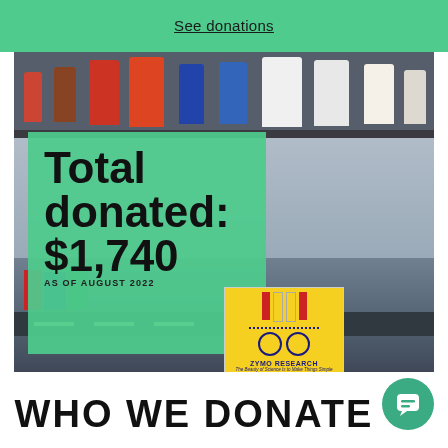See donations
[Figure (photo): Laboratory background photo showing shelves with bottles, lab equipment, books, and a Zymo Research product label in the foreground]
Total donated: $1,740
AS OF AUGUST 2022
WHO WE DONATE